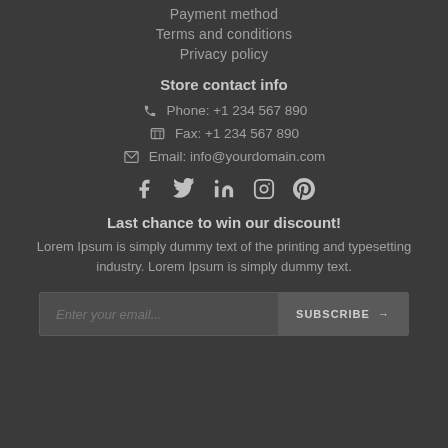Payment method
Terms and conditions
Privacy policy
Store contact info
Phone: +1 234 567 890
Fax: +1 234 567 890
Email: info@yourdomain.com
[Figure (infographic): Social media icons: Facebook, Twitter, LinkedIn, Instagram, Pinterest]
Last chance to win our discount!
Lorem Ipsum is simply dummy text of the printing and typesetting industry. Lorem Ipsum is simply dummy text.
Enter your email...  SUBSCRIBE →